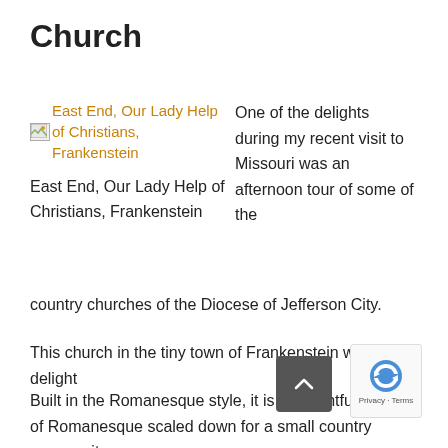Church
[Figure (photo): Broken image placeholder with link text: East End, Our Lady Help of Christians, Frankenstein]
East End, Our Lady Help of Christians, Frankenstein
One of the delights during my recent visit to Missouri was an afternoon tour of some of the country churches of the Diocese of Jefferson City.
This church in the tiny town of Frankenstein was a delight
Built in the Romanesque style, it is a delightful version of Romanesque scaled down for a small country community
Constructed from good, local materials in the 1920s the